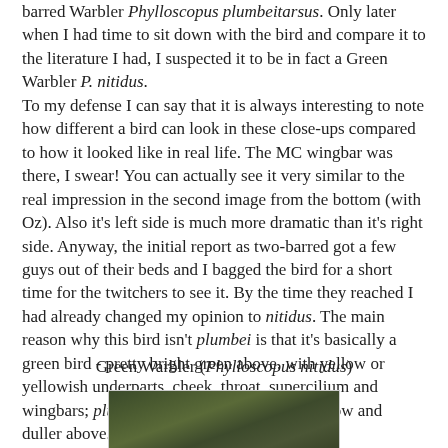barred Warbler Phylloscopus plumbeitarsus. Only later when I had time to sit down with the bird and compare it to the literature I had, I suspected it to be in fact a Green Warbler P. nitidus.
To my defense I can say that it is always interesting to note how different a bird can look in these close-ups compared to how it looked like in real life. The MC wingbar was there, I swear! You can actually see it very similar to the real impression in the second image from the bottom (with Oz). Also it's left side is much more dramatic than it's right side. Anyway, the initial report as two-barred got a few guys out of their beds and I bagged the bird for a short time for the twitchers to see it. By the time they reached I had already changed my opinion to nitidus. The main reason why this bird isn't plumbei is that it's basically a green bird - pretty bright green above, with yellow or yellowish underparts, cheek, throat, supercilium and wingbars; plumbei should be much whiter below and duller above.
Green Warbler (Phylloscopus nitidus)
[Figure (photo): Photograph of a Green Warbler (Phylloscopus nitidus), showing green plumage, partially visible at bottom of page]